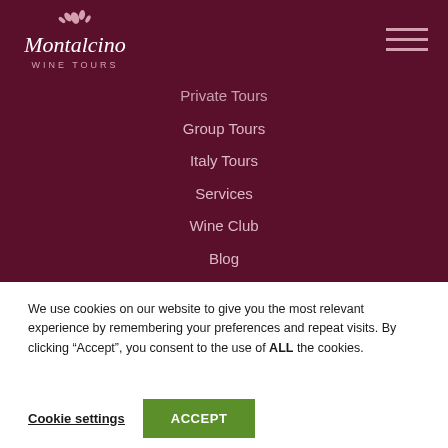[Figure (logo): Montalcino Wine Tours logo — white script text with decorative floral element on dark red background]
Private Tours
Group Tours
Italy Tours
Services
Wine Club
Blog
About
Contact Us
Call us for info
We use cookies on our website to give you the most relevant experience by remembering your preferences and repeat visits. By clicking “Accept”, you consent to the use of ALL the cookies.
Cookie settings
ACCEPT